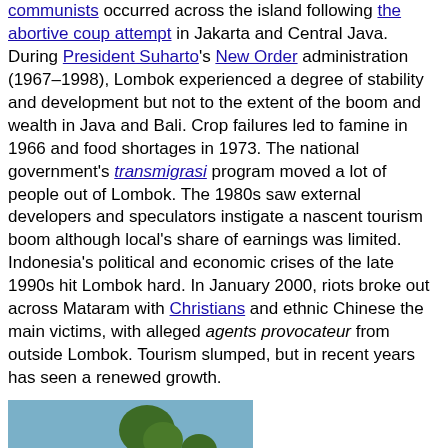communists occurred across the island following the abortive coup attempt in Jakarta and Central Java. During President Suharto's New Order administration (1967–1998), Lombok experienced a degree of stability and development but not to the extent of the boom and wealth in Java and Bali. Crop failures led to famine in 1966 and food shortages in 1973. The national government's transmigrasi program moved a lot of people out of Lombok. The 1980s saw external developers and speculators instigate a nascent tourism boom although local's share of earnings was limited. Indonesia's political and economic crises of the late 1990s hit Lombok hard. In January 2000, riots broke out across Mataram with Christians and ethnic Chinese the main victims, with alleged agents provocateur from outside Lombok. Tourism slumped, but in recent years has seen a renewed growth.
[Figure (photo): People standing among earthquake/disaster rubble with collapsed wooden structures; trees visible in background. Several people in white shirts visible.]